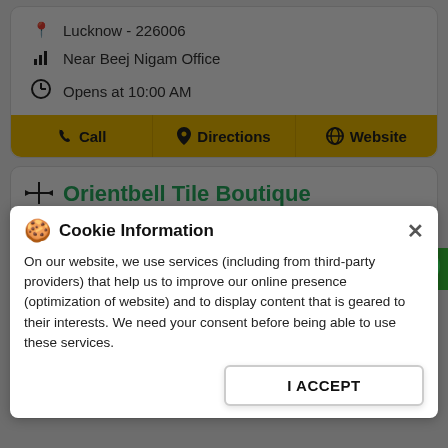Lucknow - 226006
Near Beej Nigam Office
Opens at 10:00 AM
Call | Directions | Website
Orientbell Tile Boutique
2.8 KM from Faizabad Road, Lucknow 226006
Singhal Sanitary Store
Sitapur Road
Opens at 10:00 AM
Call | Directions | Website
WHATSAPP US
Cookie Information
On our website, we use services (including from third-party providers) that help us to improve our online presence (optimization of website) and to display content that is geared to their interests. We need your consent before being able to use these services.
I ACCEPT